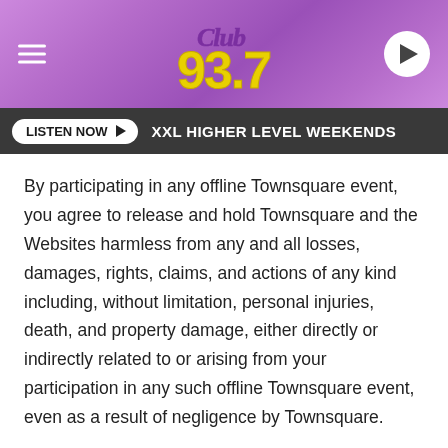Club 93.7 — XXL HIGHER LEVEL WEEKENDS
By participating in any offline Townsquare event, you agree to release and hold Townsquare and the Websites harmless from any and all losses, damages, rights, claims, and actions of any kind including, without limitation, personal injuries, death, and property damage, either directly or indirectly related to or arising from your participation in any such offline Townsquare event, even as a result of negligence by Townsquare.
1. Registration
By registering for the Websites, you represent and warrant that all registration information you submit is truthful and